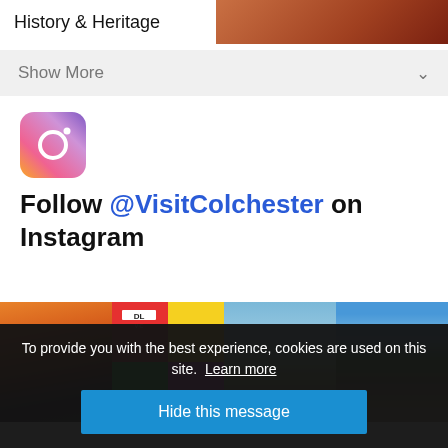[Figure (screenshot): Top banner with 'History & Heritage' text on white left panel and brown/orange image on right panel]
Show More ∨
[Figure (logo): Instagram logo icon with gradient (orange to purple) rounded square border]
Follow @VisitColchester on Instagram
[Figure (photo): Grid of 4 Instagram photos: sunset street scene, Pride event with stormtroopers and DL VC branding, town square, stone castle with palm trees]
To provide you with the best experience, cookies are used on this site. Learn more
Hide this message